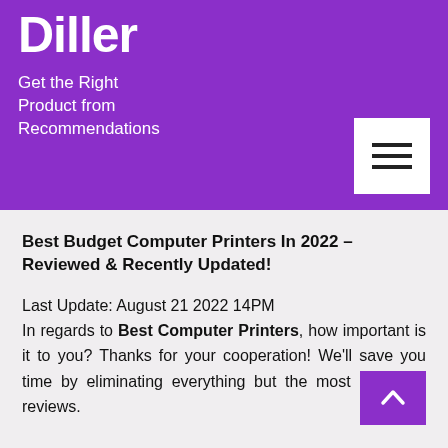Diller
Get the Right Product from Recommendations
Best Budget Computer Printers In 2022 – Reviewed & Recently Updated!
Last Update: August 21 2022 14PM
In regards to Best Computer Printers, how important is it to you? Thanks for your cooperation! We'll save you time by eliminating everything but the most important reviews.